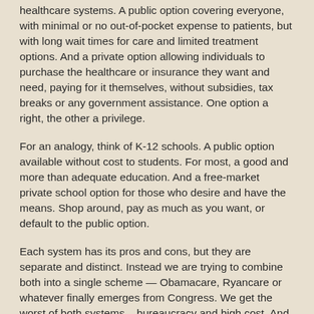healthcare systems. A public option covering everyone, with minimal or no out-of-pocket expense to patients, but with long wait times for care and limited treatment options. And a private option allowing individuals to purchase the healthcare or insurance they want and need, paying for it themselves, without subsidies, tax breaks or any government assistance. One option a right, the other a privilege.
For an analogy, think of K-12 schools. A public option available without cost to students. For most, a good and more than adequate education. And a free-market private school option for those who desire and have the means. Shop around, pay as much as you want, or default to the public option.
Each system has its pros and cons, but they are separate and distinct. Instead we are trying to combine both into a single scheme — Obamacare, Ryancare or whatever finally emerges from Congress. We get the worst of both systems – bureaucracy and high cost. And the best of neither – no universal coverage and limited freedom of choice.